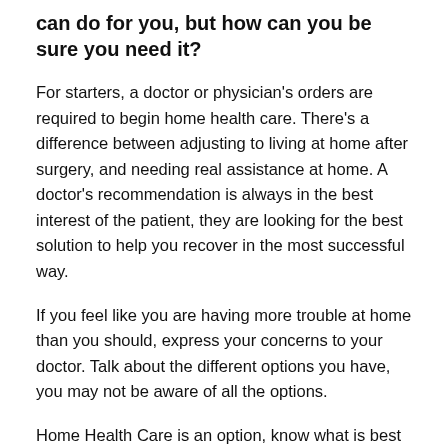can do for you, but how can you be sure you need it?
For starters, a doctor or physician’s orders are required to begin home health care. There’s a difference between adjusting to living at home after surgery, and needing real assistance at home. A doctor’s recommendation is always in the best interest of the patient, they are looking for the best solution to help you recover in the most successful way.
If you feel like you are having more trouble at home than you should, express your concerns to your doctor. Talk about the different options you have, you may not be aware of all the options.
Home Health Care is an option, know what is best for you!
Popular Blog Tags